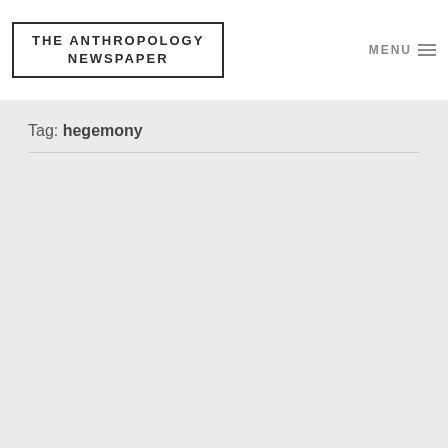THE ANTHROPOLOGY NEWSPAPER
Tag: hegemony